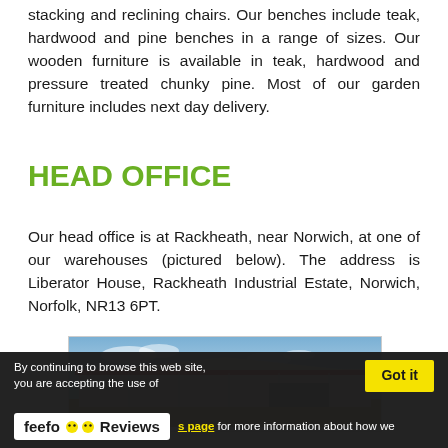stacking and reclining chairs. Our benches include teak, hardwood and pine benches in a range of sizes. Our wooden furniture is available in teak, hardwood and pressure treated chunky pine. Most of our garden furniture includes next day delivery.
HEAD OFFICE
Our head office is at Rackheath, near Norwich, at one of our warehouses (pictured below). The address is Liberator House, Rackheath Industrial Estate, Norwich, Norfolk, NR13 6PT.
[Figure (photo): Exterior photo of warehouse building with red roof trim and blue sky background]
By continuing to browse this web site, you are accepting the use of cookies. Visit our cookies page for more information about how we use cookies.